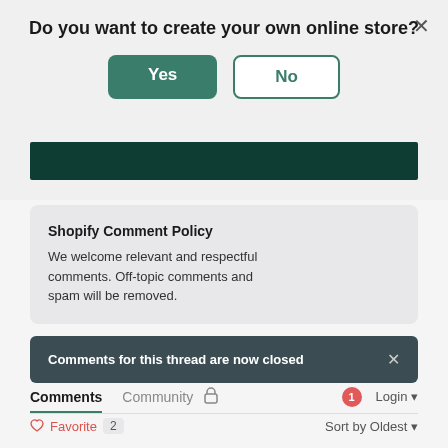Do you want to create your own online store?
Yes
No
Shopify Comment Policy
We welcome relevant and respectful comments. Off-topic comments and spam will be removed.
Comments for this thread are now closed
Comments  Community  Login
Favorite  2  Sort by Oldest